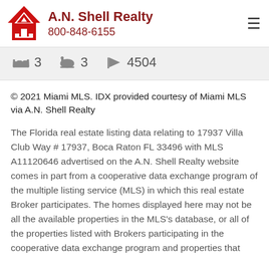[Figure (logo): A.N. Shell Realty logo with red house/A shape icon, company name and phone number 800-848-6155]
3  3  4504
© 2021 Miami MLS. IDX provided courtesy of Miami MLS via A.N. Shell Realty
The Florida real estate listing data relating to 17937 Villa Club Way # 17937, Boca Raton FL 33496 with MLS A11120646 advertised on the A.N. Shell Realty website comes in part from a cooperative data exchange program of the multiple listing service (MLS) in which this real estate Broker participates. The homes displayed here may not be all the available properties in the MLS's database, or all of the properties listed with Brokers participating in the cooperative data exchange program and properties that